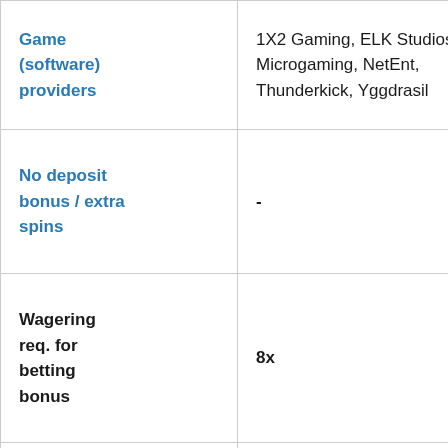| Feature | Value |
| --- | --- |
| Game (software) providers | 1X2 Gaming, ELK Studios, Microgaming, NetEnt, Thunderkick, Yggdrasil |
| No deposit bonus / extra spins | - |
| Wagering req. for betting bonus | 8x |
| First casino deposit bonus | 100% £100 |
| Wagering req. | 35x D+B |